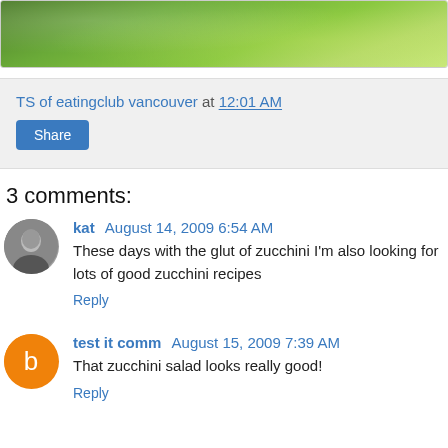[Figure (photo): Close-up photo of green leafy vegetables, partially visible at the top of the page]
TS of eatingclub vancouver at 12:01 AM
Share
3 comments:
kat August 14, 2009 6:54 AM
These days with the glut of zucchini I'm also looking for lots of good zucchini recipes
Reply
test it comm August 15, 2009 7:39 AM
That zucchini salad looks really good!
Reply